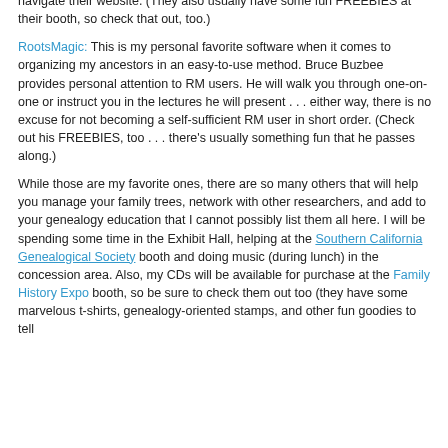navigate their website. (They also usually have some fun FREEBIES at their booth, so check that out, too.)
RootsMagic: This is my personal favorite software when it comes to organizing my ancestors in an easy-to-use method. Bruce Buzbee provides personal attention to RM users. He will walk you through one-on-one or instruct you in the lectures he will present . . . either way, there is no excuse for not becoming a self-sufficient RM user in short order. (Check out his FREEBIES, too . . . there's usually something fun that he passes along.)
While those are my favorite ones, there are so many others that will help you manage your family trees, network with other researchers, and add to your genealogy education that I cannot possibly list them all here. I will be spending some time in the Exhibit Hall, helping at the Southern California Genealogical Society booth and doing music (during lunch) in the concession area. Also, my CDs will be available for purchase at the Family History Expo booth, so be sure to check them out too (they have some marvelous t-shirts, genealogy-oriented stamps, and other fun goodies to tell everyone!!! so come check it!!)